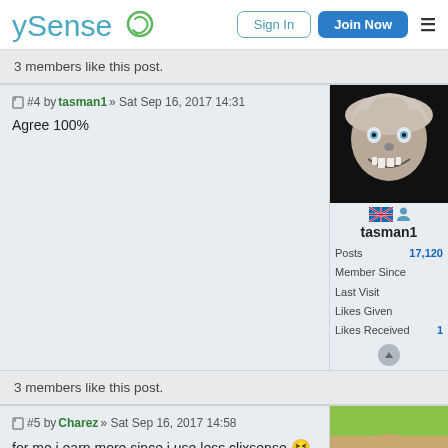ySense — Sign In | Join Now
3 members like this post.
#4 by tasman1 » Sat Sep 16, 2017 14:31
Agree 100%
tasman1 | Posts 17,120 | Member Since | Last Visit | Likes Given | Likes Received 1
3 members like this post.
#5 by Charez » Sat Sep 16, 2017 14:58
for me i earn more since i use less clixsense 😆